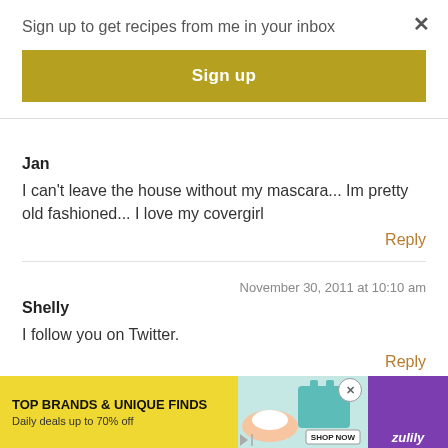Sign up to get recipes from me in your inbox
Sign up
Jan
I can't leave the house without my mascara... Im pretty old fashioned... I love my covergirl
Reply
November 30, 2011 at 10:10 am
Shelly
I follow you on Twitter.
Reply
[Figure (screenshot): Advertisement banner for Zulily: TOP BRANDS & UNIQUE FINDS, Daily deals up to 70% off, with SHOP NOW button and product images]